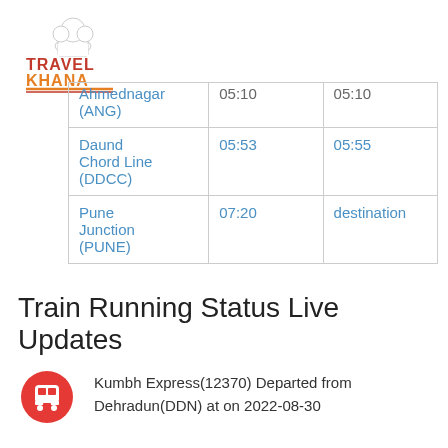[Figure (logo): TravelKhana logo with chef hat icon, TRAVEL in red/dark text, KHANA in orange text, decorative underline]
| Ahmednagar (ANG) | 05:10 | 05:10 |
| Daund Chord Line (DDCC) | 05:53 | 05:55 |
| Pune Junction (PUNE) | 07:20 | destination |
Train Running Status Live Updates
Kumbh Express(12370) Departed from Dehradun(DDN) at on 2022-08-30